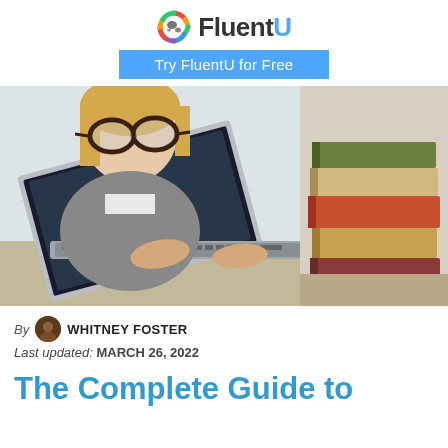FluentU — Try FluentU for Free
[Figure (photo): Young woman with glasses typing on a laptop keyboard, surrounded by a stack of books on the right side]
By WHITNEY FOSTER
Last updated: MARCH 26, 2022
The Complete Guide to